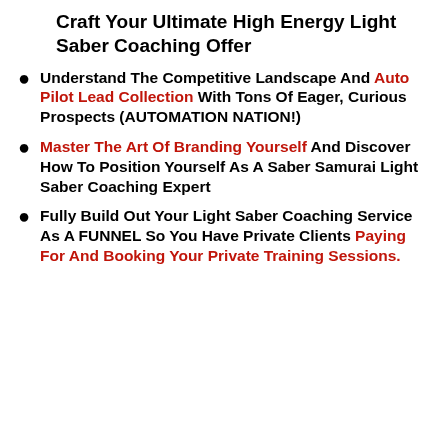Craft Your Ultimate High Energy Light Saber Coaching Offer
Understand The Competitive Landscape And Auto Pilot Lead Collection With Tons Of Eager, Curious Prospects (AUTOMATION NATION!)
Master The Art Of Branding Yourself And Discover How To Position Yourself As A Saber Samurai Light Saber Coaching Expert
Fully Build Out Your Light Saber Coaching Service As A FUNNEL So You Have Private Clients Paying For And Booking Your Private Training Sessions.